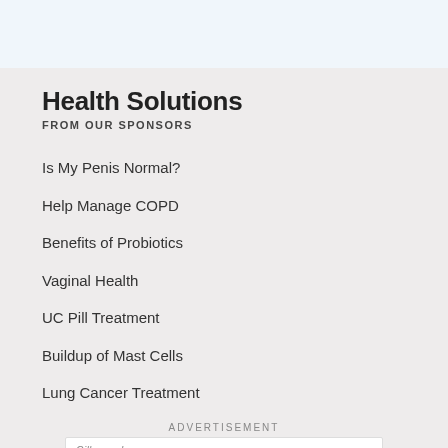Health Solutions
FROM OUR SPONSORS
Is My Penis Normal?
Help Manage COPD
Benefits of Probiotics
Vaginal Health
UC Pill Treatment
Buildup of Mast Cells
Lung Cancer Treatment
ADVERTISEMENT
[Figure (other): Advertisement banner for Gillware, Inc. showing 'Get An Estimate' with a blue 'LEARN MORE' button and ad icons]